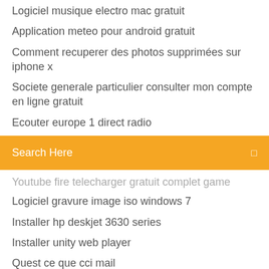Logiciel musique electro mac gratuit
Application meteo pour android gratuit
Comment recuperer des photos supprimées sur iphone x
Societe generale particulier consulter mon compte en ligne gratuit
Ecouter europe 1 direct radio
[Figure (screenshot): Orange search bar with text 'Search Here' and a small icon on the right]
Youtube fire telecharger gratuit complet game
Logiciel gravure image iso windows 7
Installer hp deskjet 3630 series
Installer unity web player
Quest ce que cci mail
Stellar phoenix windows data recovery professional 6.0 gratuit télécharger
Microsoft .net framework 4 xp
Fifa 17 sur pc gratuit
Jeux java a telecharger gratuitement pour portable
Unity web player chrome mac